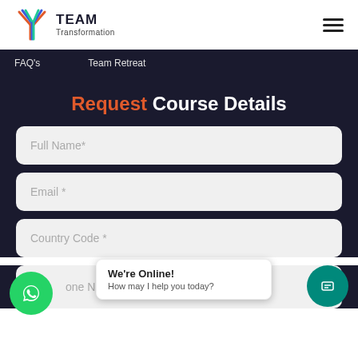TEAM Transformation
FAQ's   Team Retreat
Request Course Details
Full Name*
Email *
Country Code *
Phone Number *
We're Online! How may I help you today?